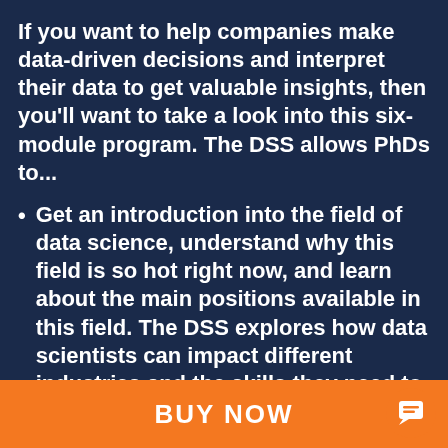If you want to help companies make data-driven decisions and interpret their data to get valuable insights, then you'll want to take a look into this six-module program. The DSS allows PhDs to...
Get an introduction into the field of data science, understand why this field is so hot right now, and learn about the main positions available in this field. The DSS explores how data scientists can impact different industries and the skills they need to be successful in industry. Most of the skills you have already developed during your doctoral...
BUY NOW